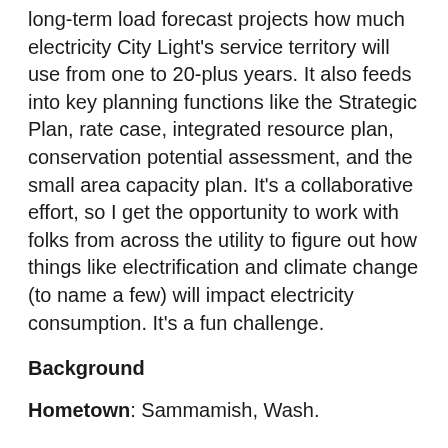long-term load forecast projects how much electricity City Light's service territory will use from one to 20-plus years. It also feeds into key planning functions like the Strategic Plan, rate case, integrated resource plan, conservation potential assessment, and the small area capacity plan. It's a collaborative effort, so I get the opportunity to work with folks from across the utility to figure out how things like electrification and climate change (to name a few) will impact electricity consumption. It's a fun challenge.
Background
Hometown: Sammamish, Wash.